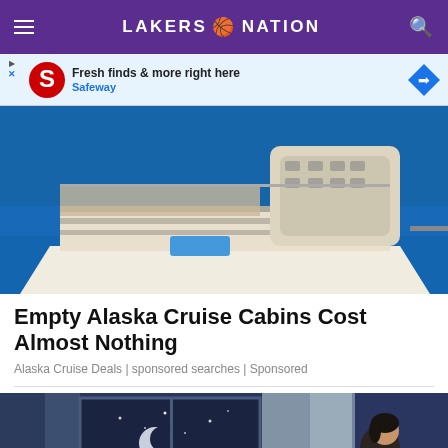LAKERS NATION
[Figure (screenshot): Safeway advertisement banner: Fresh finds & more right here - Safeway]
[Figure (photo): Aerial view of a large cruise ship on blue water]
Empty Alaska Cruise Cabins Cost Almost Nothing
Alaska Cruise Deals | sponsored searches | Sponsored
[Figure (illustration): Illustration of a person looking out a window at night with moon and stars]